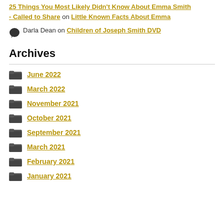25 Things You Most Likely Didn't Know About Emma Smith - Called to Share on Little Known Facts About Emma
Darla Dean on Children of Joseph Smith DVD
Archives
June 2022
March 2022
November 2021
October 2021
September 2021
March 2021
February 2021
January 2021